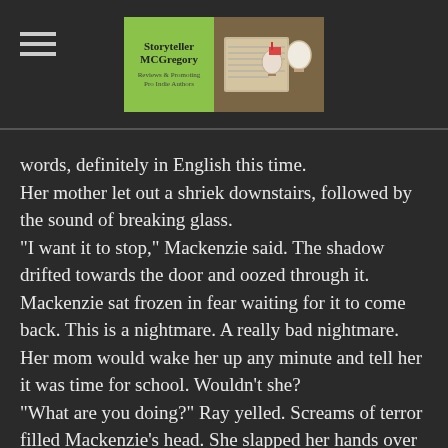Storyteller MCGregory — Reviews & Promoting Pro Indie Authors
words, definitely in English this time.
Her mother let out a shriek downstairs, followed by the sound of breaking glass.
"I want it to stop," Mackenzie said. The shadow drifted towards the door and oozed through it. Mackenzie sat frozen in fear waiting for it to come back. This is a nightmare. A really bad nightmare. Her mom would wake her up any minute and tell her it was time for school. Wouldn't she?
"What are you doing?" Ray yelled. Screams of terror filled Mackenzie's head. She slapped her hands over her ears. Abruptly, the scream cut off, leaving a thick, cloying silence behind. It was over.
Gathering her courage, Mackenzie slipped out of bed and tiptoed to the door. Taking a deep breath she turned the handle pulling it open a crack and peering out into the hallway. She saw nothing. Moving like a